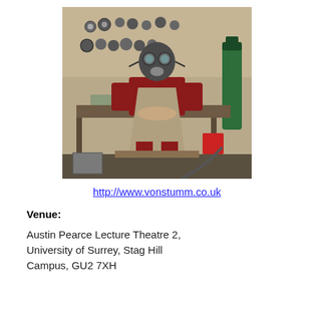[Figure (photo): A person wearing a gas mask, red jacket, leather apron and work boots sitting in a workshop surrounded by tools, grinding wheels on the wall, and a green gas cylinder.]
http://www.vonstumm.co.uk
Venue:
Austin Pearce Lecture Theatre 2, University of Surrey, Stag Hill Campus, GU2 7XH